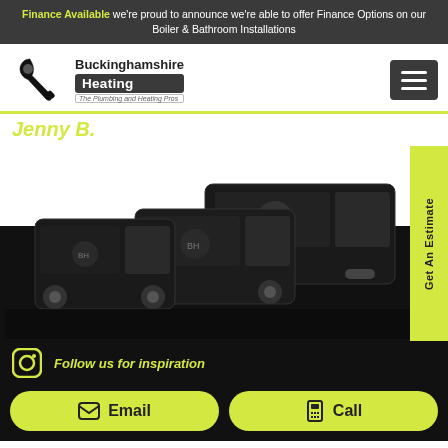Finance Available we're proud to announce we're able to offer Finance Options on our Boiler & Bathroom Installations
[Figure (logo): Buckinghamshire Heating logo with wrench icon and tagline 'The Plumbing and Heating Pros']
Jenny B.
[Figure (photo): Fleet of black Buckinghamshire Heating vans, three vehicles shown]
Get An Estimate
Follow us for inspiration
Email
Call